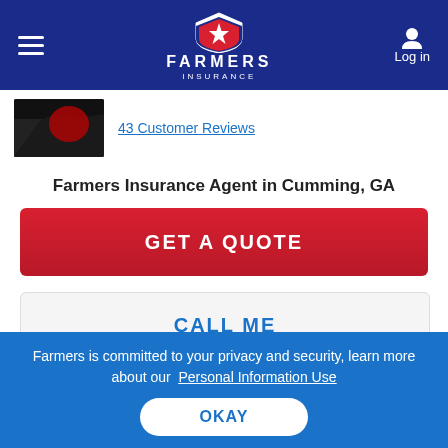[Figure (screenshot): Farmers Insurance website navigation bar with hamburger menu, Farmers Insurance logo, and Log in button on dark blue background]
43 Customer Reviews
Farmers Insurance Agent in Cumming, GA
GET A QUOTE
CALL ME
TEXT ME
Learn more about the insurance products we offer:
Farmers is committed to your privacy and security, learn more about our Personal Information Use
OKAY